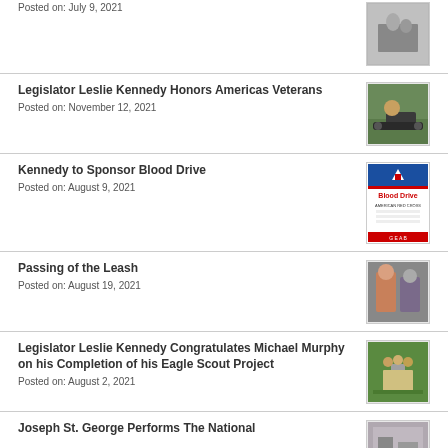Posted on: July 9, 2021
Legislator Leslie Kennedy Honors Americas Veterans
Posted on: November 12, 2021
Kennedy to Sponsor Blood Drive
Posted on: August 9, 2021
Passing of the Leash
Posted on: August 19, 2021
Legislator Leslie Kennedy Congratulates Michael Murphy on his Completion of his Eagle Scout Project
Posted on: August 2, 2021
Joseph St. George Performs The National